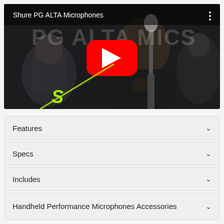[Figure (screenshot): YouTube video thumbnail for 'Shure PG ALTA Microphones' showing a bearded man singing into a microphone on stage with YouTube play button overlay and Shure logo in bottom left corner]
Features
Specs
Includes
Handheld Performance Microphones Accessories